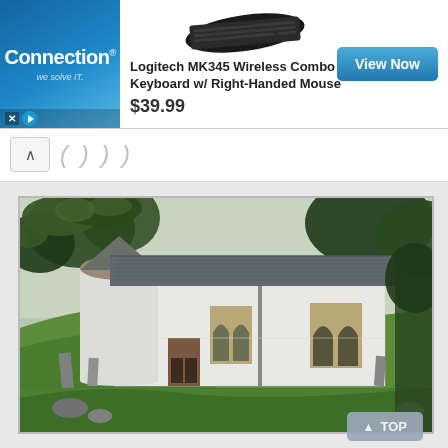[Figure (screenshot): Connection brand advertisement banner showing logo on left, Logitech MK345 keyboard image, product name, price $39.99, and View Now button]
[Figure (photo): Photograph of a white-washed stone church with grey slate roof and Gothic arched windows, surrounded by green grass, gravestones, and trees]
TOP